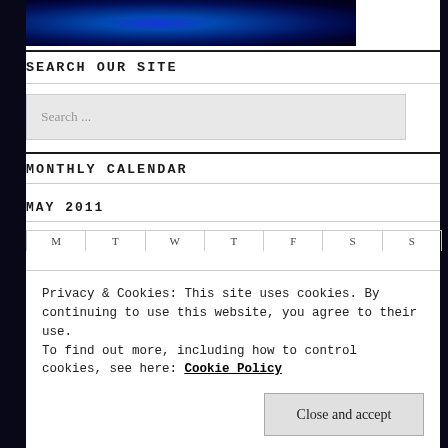[Figure (photo): Dark background with blue glowing flower/ink shape]
SEARCH OUR SITE
Search ...
MONTHLY CALENDAR
MAY 2011
Privacy & Cookies: This site uses cookies. By continuing to use this website, you agree to their use.
To find out more, including how to control cookies, see here: Cookie Policy
Close and accept